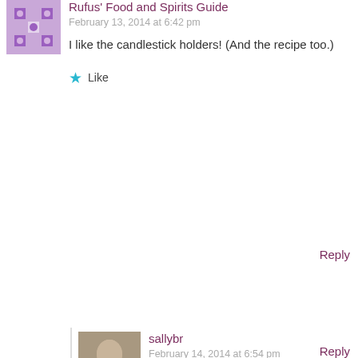Rufus' Food and Spirits Guide
February 13, 2014 at 6:42 pm
I like the candlestick holders! (And the recipe too.)
Like
Reply
sallybr
February 14, 2014 at 6:54 pm
Happy V-day, Greg! Looking forward to your post today... Having blogged three days in a row left me exhausted, I honestly don't know how you and Katherine manage to pull one new post each day!
Like
Reply